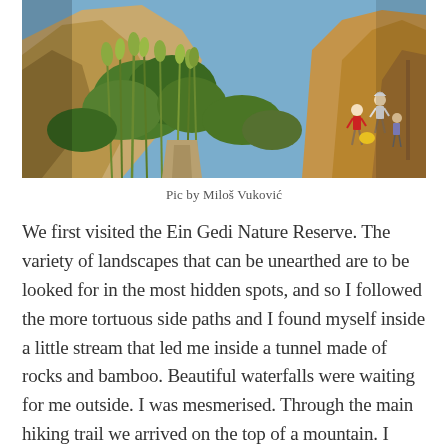[Figure (photo): Outdoor nature photo showing rocky canyon walls with lush green vegetation and tall grasses. Several hikers visible on the right side of the image against bright sandstone/ochre-colored rock formations. Blue sky visible in the background.]
Pic by Miloš Vuković
We first visited the Ein Gedi Nature Reserve. The variety of landscapes that can be unearthed are to be looked for in the most hidden spots, and so I followed the more tortuous side paths and I found myself inside a little stream that led me inside a tunnel made of rocks and bamboo. Beautiful waterfalls were waiting for me outside. I was mesmerised. Through the main hiking trail we arrived on the top of a mountain. I can't even describe how I felt looking at the infinite Dead Sea but all my worries suddenly felt so small and irrelevant. I